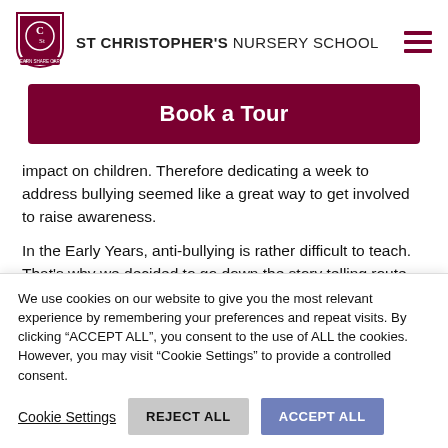ST CHRISTOPHER'S NURSERY SCHOOL
[Figure (other): St Christopher's Nursery School shield logo with Cs monogram and banner]
Book a Tour
impact on children. Therefore dedicating a week to address bullying seemed like a great way to get involved to raise awareness.
In the Early Years, anti-bullying is rather difficult to teach. That's why we decided to go down the story telling route. Miss
We use cookies on our website to give you the most relevant experience by remembering your preferences and repeat visits. By clicking "ACCEPT ALL", you consent to the use of ALL the cookies. However, you may visit "Cookie Settings" to provide a controlled consent.